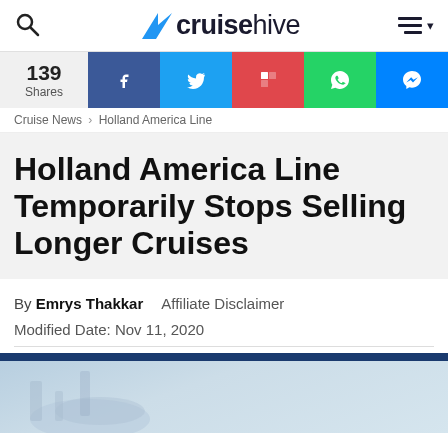cruisehive
[Figure (screenshot): Social share bar showing 139 Shares with Facebook, Twitter, Flipboard, WhatsApp, and Messenger buttons]
Cruise News › Holland America Line
Holland America Line Temporarily Stops Selling Longer Cruises
By Emrys Thakkar   Affiliate Disclaimer
Modified Date: Nov 11, 2020
[Figure (photo): Partial image of a Holland America Line cruise ship, showing the bow and funnel against a light blue sky, with a dark blue banner at the top]